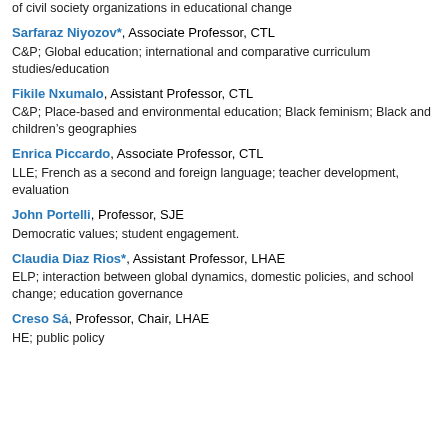of civil society organizations in educational change
Sarfaraz Niyozov*, Associate Professor, CTL
C&P; Global education; international and comparative curriculum studies/education
Fikile Nxumalo, Assistant Professor, CTL
C&P; Place-based and environmental education; Black feminism; Black and children’s geographies
Enrica Piccardo, Associate Professor, CTL
LLE; French as a second and foreign language; teacher development, evaluation
John Portelli, Professor, SJE
Democratic values; student engagement.
Claudia Diaz Rios*, Assistant Professor, LHAE
ELP; interaction between global dynamics, domestic policies, and school change; education governance
Creso Sá, Professor, Chair, LHAE
HE; public policy